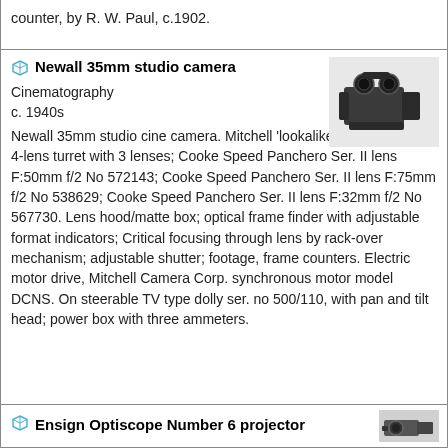counter, by R. W. Paul, c.1902.
Newall 35mm studio camera
Cinematography
c. 1940s
Newall 35mm studio cine camera. Mitchell 'lookalike' 35mm camera; 4-lens turret with 3 lenses; Cooke Speed Panchero Ser. II lens F:50mm f/2 No 572143; Cooke Speed Panchero Ser. II lens F:75mm f/2 No 538629; Cooke Speed Panchero Ser. II lens F:32mm f/2 No 567730. Lens hood/matte box; optical frame finder with adjustable format indicators; Critical focusing through lens by rack-over mechanism; adjustable shutter; footage, frame counters. Electric motor drive, Mitchell Camera Corp. synchronous motor model DCNS. On steerable TV type dolly ser. no 500/110, with pan and tilt head; power box with three ammeters.
[Figure (photo): Photograph of a Newall 35mm studio cine camera]
Ensign Optiscope Number 6 projector
[Figure (photo): Partial photograph of the Ensign Optiscope Number 6 projector]